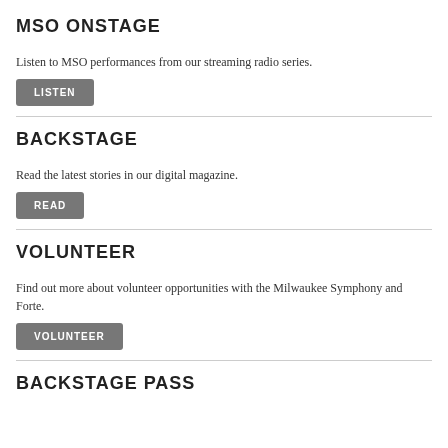MSO ONSTAGE
Listen to MSO performances from our streaming radio series.
LISTEN
BACKSTAGE
Read the latest stories in our digital magazine.
READ
VOLUNTEER
Find out more about volunteer opportunities with the Milwaukee Symphony and Forte.
VOLUNTEER
BACKSTAGE PASS